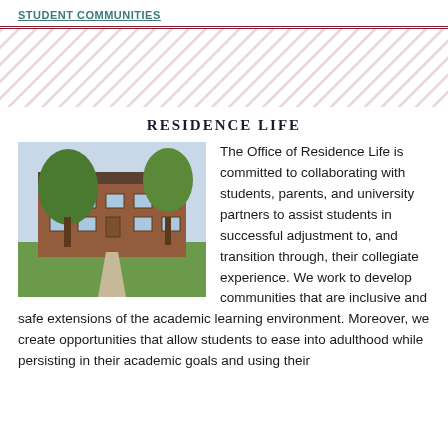STUDENT COMMUNITIES
RESIDENCE LIFE
[Figure (photo): Brick university residence hall building with large trees and green lawn in foreground]
The Office of Residence Life is committed to collaborating with students, parents, and university partners to assist students in successful adjustment to, and transition through, their collegiate experience. We work to develop communities that are inclusive and safe extensions of the academic learning environment. Moreover, we create opportunities that allow students to ease into adulthood while persisting in their academic goals and using their